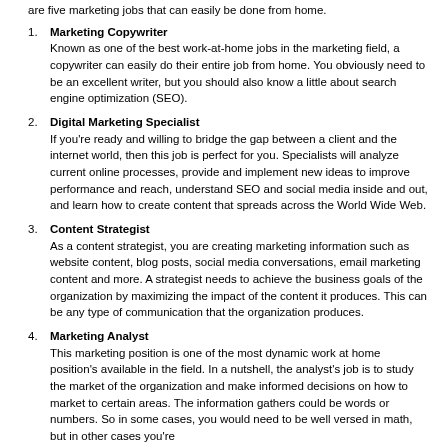are five marketing jobs that can easily be done from home.
1. Marketing Copywriter
Known as one of the best work-at-home jobs in the marketing field, a copywriter can easily do their entire job from home. You obviously need to be an excellent writer, but you should also know a little about search engine optimization (SEO).
2. Digital Marketing Specialist
If you're ready and willing to bridge the gap between a client and the internet world, then this job is perfect for you. Specialists will analyze current online processes, provide and implement new ideas to improve performance and reach, understand SEO and social media inside and out, and learn how to create content that spreads across the World Wide Web.
3. Content Strategist
As a content strategist, you are creating marketing information such as website content, blog posts, social media conversations, email marketing content and more. A strategist needs to achieve the business goals of the organization by maximizing the impact of the content it produces. This can be any type of communication that the organization produces.
4. Marketing Analyst
This marketing position is one of the most dynamic work at home position's available in the field. In a nutshell, the analyst's job is to study the market of the organization and make informed decisions on how to market to certain areas. The information gathers could be words or numbers. So in some cases, you would need to be well versed in math, but in other cases you're